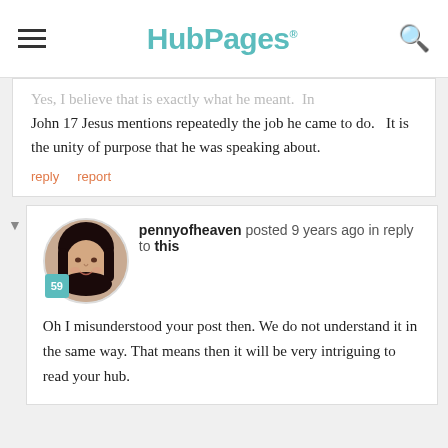HubPages
Yes, I believe that is exactly what he meant.  In John 17 Jesus mentions repeatedly the job he came to do.   It is the unity of purpose that he was speaking about.
reply   report
pennyofheaven posted 9 years ago in reply to this
Oh I misunderstood your post then. We do not understand it in the same way. That means then it will be very intriguing to read your hub.